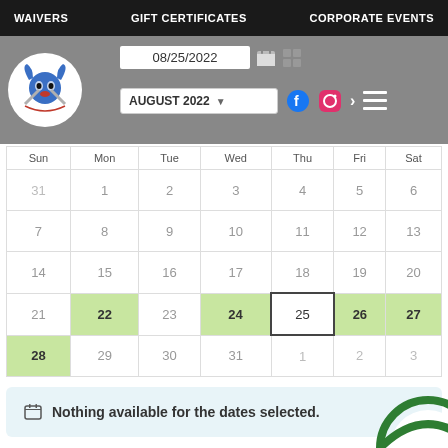WAIVERS | GIFT CERTIFICATES | CORPORATE EVENTS
[Figure (logo): Bellnese logo with bull/axe design in circle]
08/25/2022
AUGUST 2022
| Sun | Mon | Tue | Wed | Thu | Fri | Sat |
| --- | --- | --- | --- | --- | --- | --- |
| 31 | 1 | 2 | 3 | 4 | 5 | 6 |
| 7 | 8 | 9 | 10 | 11 | 12 | 13 |
| 14 | 15 | 16 | 17 | 18 | 19 | 20 |
| 21 | 22 | 23 | 24 | 25 | 26 | 27 |
| 28 | 29 | 30 | 31 | 1 | 2 | 3 |
Nothing available for the dates selected.